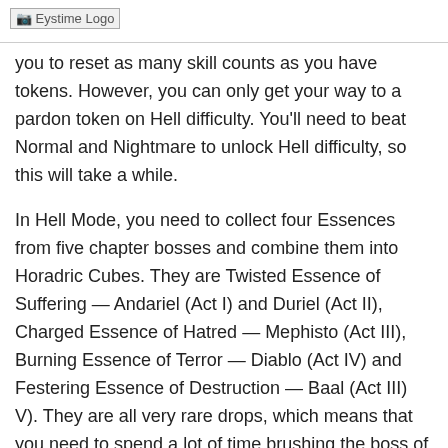Eystime Logo
you to reset as many skill counts as you have tokens. However, you can only get your way to a pardon token on Hell difficulty. You'll need to beat Normal and Nightmare to unlock Hell difficulty, so this will take a while.
In Hell Mode, you need to collect four Essences from five chapter bosses and combine them into Horadric Cubes. They are Twisted Essence of Suffering — Andariel (Act I) and Duriel (Act II), Charged Essence of Hatred — Mephisto (Act III), Burning Essence of Terror — Diablo (Act IV) and Festering Essence of Destruction — Baal (Act III) V). They are all very rare drops, which means that you need to spend a lot of time brushing the boss of the corresponding scene, and only to get a Token of Absolution in the end.